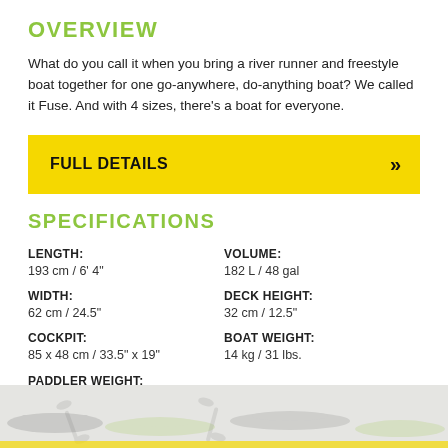OVERVIEW
What do you call it when you bring a river runner and freestyle boat together for one go-anywhere, do-anything boat? We called it Fuse. And with 4 sizes, there's a boat for everyone.
FULL DETAILS »
SPECIFICATIONS
LENGTH: 193 cm / 6' 4"
VOLUME: 182 L / 48 gal
WIDTH: 62 cm / 24.5"
DECK HEIGHT: 32 cm / 12.5"
COCKPIT: 85 x 48 cm / 33.5" x 19"
BOAT WEIGHT: 14 kg / 31 lbs.
PADDLER WEIGHT: 45 - 73 kg / 100 - 160 lbs.
[Figure (illustration): Kayak silhouette watermark footer banner in grey and yellow-green tones]